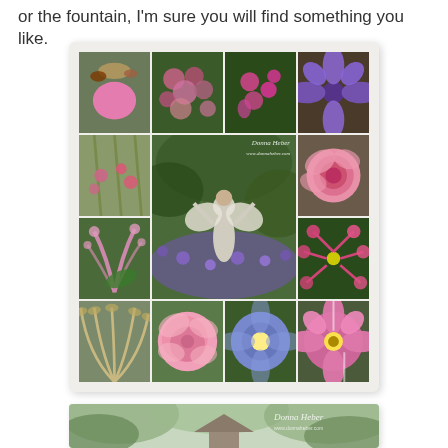or the fountain, I'm sure you will find something you like.
[Figure (photo): A collage of garden photos showing pink echinacea with butterfly, purple flowering shrubs, bleeding heart flowers, purple clematis, pink and purple wildflowers with grasses, a fairy garden statue surrounded by purple flowers, a pink rose, pink astilbe/plume flowers, pink cleome spider flowers, ornamental grass plumes, a pink peony, blue morning glory, and a striped pink clematis flower]
[Figure (photo): A garden gazebo or birdhouse structure partially visible among green trees, with a Donna Heber watermark in the upper right corner]